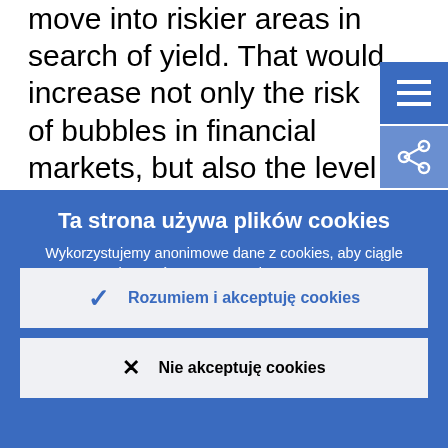move into riskier areas in search of yield. That would increase not only the risk of bubbles in financial markets, but also the level of risk within individual banks. We will therefore be looking very closely to see
Ta strona używa plików cookies
Wykorzystujemy anonimowe dane z cookies, aby ciągle ulepszać naszą stronę internetową.
Więcej informacji o użyciu cookies
Rozumiem i akceptuję cookies
Nie akceptuję cookies